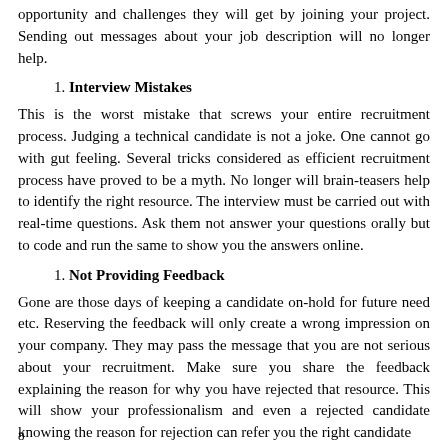opportunity and challenges they will get by joining your project. Sending out messages about your job description will no longer help.
1. Interview Mistakes
This is the worst mistake that screws your entire recruitment process. Judging a technical candidate is not a joke. One cannot go with gut feeling. Several tricks considered as efficient recruitment process have proved to be a myth. No longer will brain-teasers help to identify the right resource. The interview must be carried out with real-time questions. Ask them not answer your questions orally but to code and run the same to show you the answers online.
1. Not Providing Feedback
Gone are those days of keeping a candidate on-hold for future need etc. Reserving the feedback will only create a wrong impression on your company. They may pass the message that you are not serious about your recruitment. Make sure you share the feedback explaining the reason for why you have rejected that resource. This will show your professionalism and even a rejected candidate knowing the reason for rejection can refer you the right candidate
8